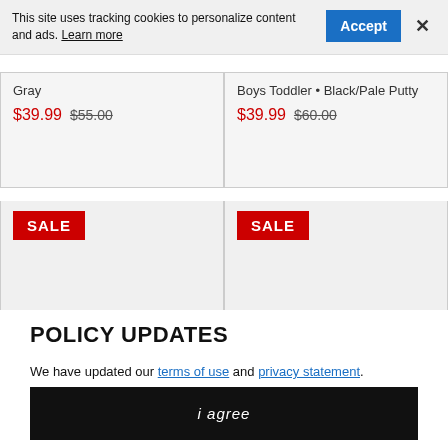This site uses tracking cookies to personalize content and ads. Learn more
Gray
$39.99 $55.00
Boys Toddler • Black/Pale Putty
$39.99 $60.00
[Figure (other): Two product cards each showing a red SALE badge on a light gray background]
POLICY UPDATES
We have updated our terms of use and privacy statement. By continuing to use this site, you agree to these policies.
i agree